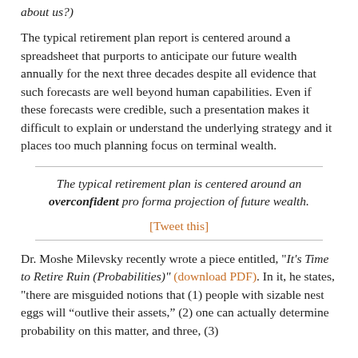about us?)
The typical retirement plan report is centered around a spreadsheet that purports to anticipate our future wealth annually for the next three decades despite all evidence that such forecasts are well beyond human capabilities. Even if these forecasts were credible, such a presentation makes it difficult to explain or understand the underlying strategy and it places too much planning focus on terminal wealth.
The typical retirement plan is centered around an overconfident pro forma projection of future wealth.
[Tweet this]
Dr. Moshe Milevsky recently wrote a piece entitled, "It's Time to Retire Ruin (Probabilities)" (download PDF). In it, he states, "there are misguided notions that (1) people with sizable nest eggs will “outlive their assets,” (2) one can actually determine probability on this matter, and three, (3)